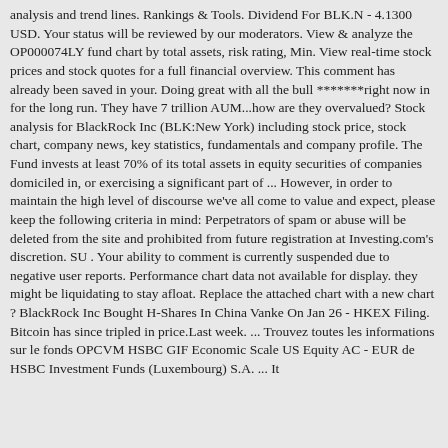analysis and trend lines. Rankings & Tools. Dividend For BLK.N - 4.1300 USD. Your status will be reviewed by our moderators. View & analyze the OP000074LY fund chart by total assets, risk rating, Min. View real-time stock prices and stock quotes for a full financial overview. This comment has already been saved in your. Doing great with all the bull *******right now in for the long run. They have 7 trillion AUM...how are they overvalued? Stock analysis for BlackRock Inc (BLK:New York) including stock price, stock chart, company news, key statistics, fundamentals and company profile. The Fund invests at least 70% of its total assets in equity securities of companies domiciled in, or exercising a significant part of ... However, in order to maintain the high level of discourse we've all come to value and expect, please keep the following criteria in mind: Perpetrators of spam or abuse will be deleted from the site and prohibited from future registration at Investing.com's discretion. SU . Your ability to comment is currently suspended due to negative user reports. Performance chart data not available for display. they might be liquidating to stay afloat. Replace the attached chart with a new chart ? BlackRock Inc Bought H-Shares In China Vanke On Jan 26 - HKEX Filing. Bitcoin has since tripled in price.Last week. ... Trouvez toutes les informations sur le fonds OPCVM HSBC GIF Economic Scale US Equity AC - EUR de HSBC Investment Funds (Luxembourg) S.A. ... It